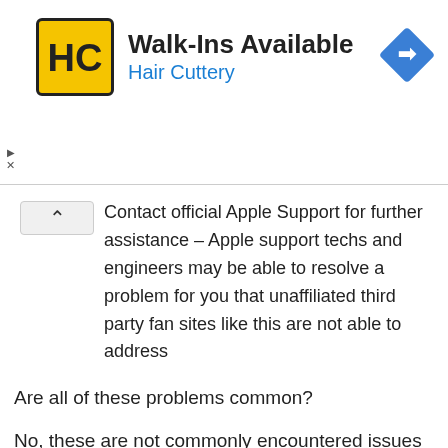[Figure (other): Hair Cuttery advertisement banner with logo, 'Walk-Ins Available' headline, 'Hair Cuttery' subtitle in blue, and a navigation diamond icon]
Contact official Apple Support for further assistance – Apple support techs and engineers may be able to resolve a problem for you that unaffiliated third party fan sites like this are not able to address
Are all of these problems common?
No, these are not commonly encountered issues with MacOS Catalina.
Perhaps the most common issue that may be experienced by users with MacOS Catalina is that some older apps will not work, because of the loss of 32-bit app support. The other issues discussed here are fairly rare